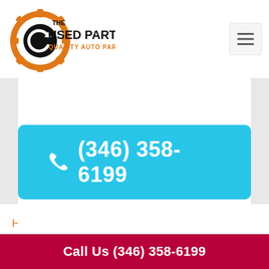[Figure (logo): The Used Parts - Quality Auto Parts logo with gear icon in orange and black]
(346) 358-6199
Home / Part List / Steering Column
Car Steering Column
Call Us (346) 358-6199